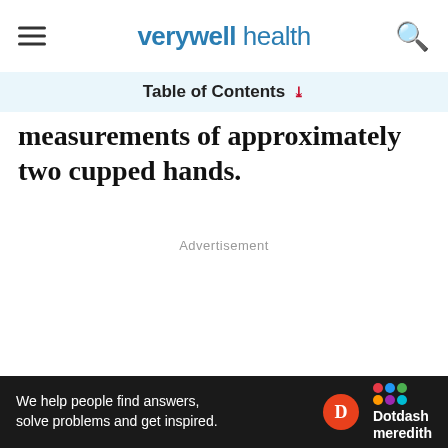verywell health
Table of Contents
measurements of approximately two cupped hands.
Advertisement
Ad
[Figure (other): Dotdash Meredith advertisement banner: 'We help people find answers, solve problems and get inspired.']